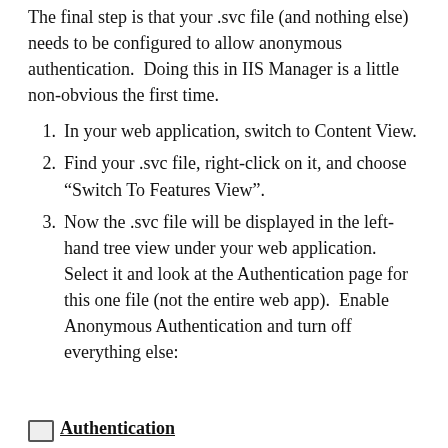The final step is that your .svc file (and nothing else) needs to be configured to allow anonymous authentication.  Doing this in IIS Manager is a little non-obvious the first time.
In your web application, switch to Content View.
Find your .svc file, right-click on it, and choose “Switch To Features View”.
Now the .svc file will be displayed in the left-hand tree view under your web application.  Select it and look at the Authentication page for this one file (not the entire web app).  Enable Anonymous Authentication and turn off everything else:
[Figure (screenshot): Partial screenshot showing Authentication label/heading at bottom of page]